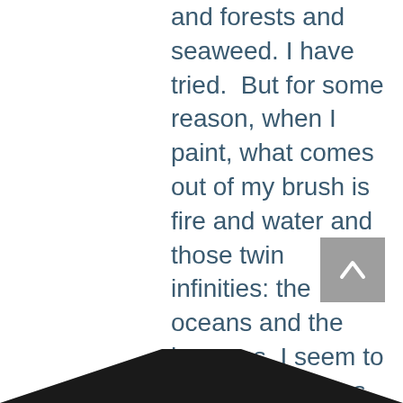and forests and seaweed. I have tried. But for some reason, when I paint, what comes out of my brush is fire and water and those twin infinities: the oceans and the heavens. I seem to be about photons and elements and basic powers like gravity, acceleration, impact, release. I rarely paint (or dream, for that matter) of anything as sweetly intricate as a lily or a blade of grass, (although I did once dream about a lovely old tree, when I was worried about the passing of my youth). People sometimes talk as if they think artists can do whatever they want, at least in the realm of their work, but it isn't so. I feel like a message in a bottle, written and cast into the sea